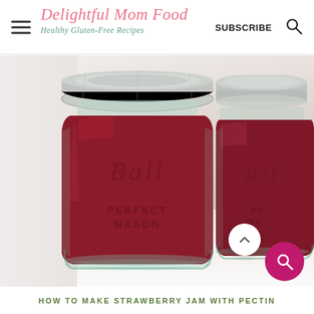Delightful Mom Food | Healthy Gluten-Free Recipes | SUBSCRIBE
[Figure (photo): Two Ball Perfect Mason jars filled with red strawberry jam, silver lids, on a white surface. Main jar in foreground center, second jar partially visible at right edge.]
HOW TO MAKE STRAWBERRY JAM WITH PECTIN